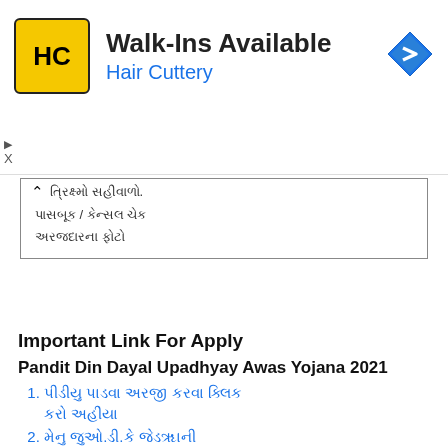[Figure (other): Advertisement banner: Hair Cuttery Walk-Ins Available ad with yellow HC logo and navigation icon]
ત્રિક્ષ્મો સહીવાળો.
પાસબૂક / કેન્સલ ચેક
અરજદારના ફોટો
Important Link For Apply
Pandit Din Dayal Upadhyay Awas Yojana 2021
[Gujarati link text 1 - two lines]
[Gujarati link text 2 - two lines]
[Gujarati link text 3 - two lines]
[Gujarati link text 4]
[Gujarati link text 5 - partial]